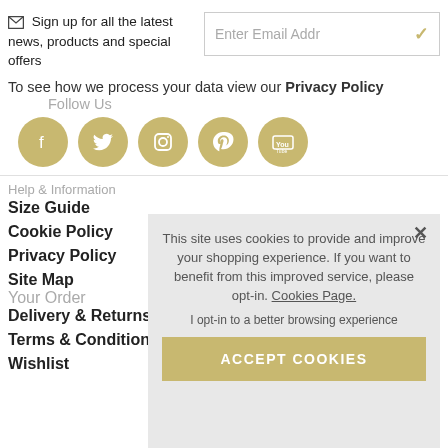✉ Sign up for all the latest news, products and special offers
Enter Email Addr
To see how we process your data view our Privacy Policy
Follow Us
[Figure (illustration): Five gold circular social media icons: Facebook, Twitter, Instagram, Pinterest, YouTube]
Help & Information
Size Guide
Cookie Policy
Privacy Policy
Site Map
Your Order
Delivery & Returns
Terms & Conditions
Wishlist
This site uses cookies to provide and improve your shopping experience. If you want to benefit from this improved service, please opt-in. Cookies Page.
I opt-in to a better browsing experience
ACCEPT COOKIES